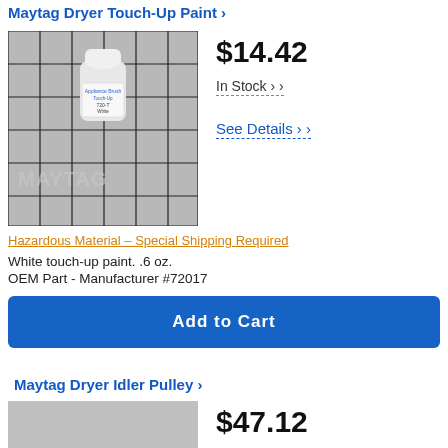Maytag Dryer Touch-Up Paint ›
[Figure (photo): White small bottle of touch-up paint on a gray grid background with Maytag watermark logo]
$14.42
In Stock ›
See Details ›
Hazardous Material – Special Shipping Required
White touch-up paint. .6 oz.
OEM Part - Manufacturer #72017
Add to Cart
Maytag Dryer Idler Pulley ›
[Figure (photo): Partially visible product image placeholder (gray box)]
$47.12